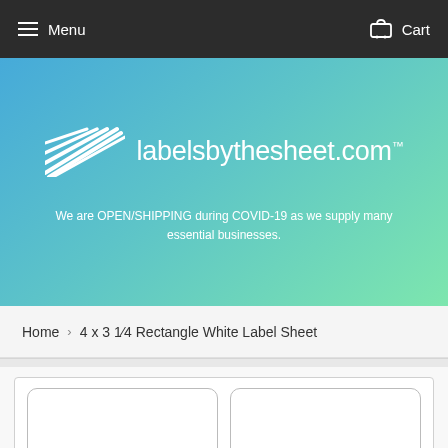Menu  Cart
[Figure (logo): labelsbythesheet.com logo with diagonal line graphic on blue-green gradient background]
We are OPEN/SHIPPING during COVID-19 as we supply many essential businesses.
Home › 4 x 3 1⁄4 Rectangle White Label Sheet
[Figure (photo): Product preview showing two white rectangle label sheets side by side on white background]